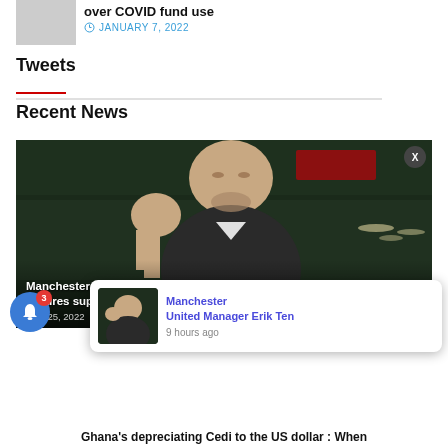[Figure (photo): Thumbnail image placeholder (gray rectangle) for a news article about COVID fund use]
over COVID fund use
JANUARY 7, 2022
Tweets
Recent News
[Figure (photo): Photo of Manchester United Manager Erik Ten Hag raising his fist in a stadium setting, with a notification popup overlaid showing 'Manchester United Manager Erik Ten' and '9 hours ago']
Manchester United Manager Erik Ten Hag gallantly assures suppo
UST 25, 2022
Manchester United Manager Erik Ten
9 hours ago
Ghana's depreciating Cedi to the US dollar : When